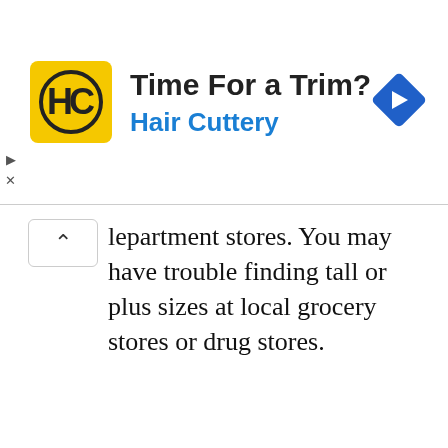[Figure (infographic): Hair Cuttery advertisement banner with yellow HC logo, text 'Time For a Trim?' and 'Hair Cuttery' in blue, and a blue diamond navigation icon on the right.]
lepartment stores. You may have trouble finding tall or plus sizes at local grocery stores or drug stores.